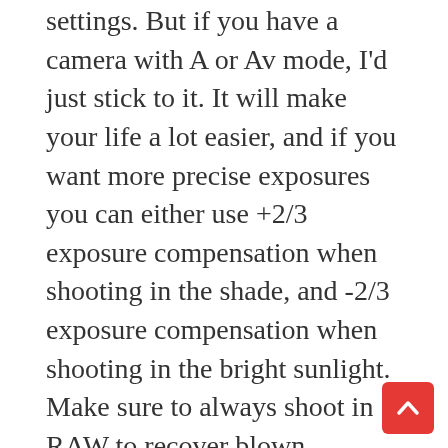settings. But if you have a camera with A or Av mode, I'd just stick to it. It will make your life a lot easier, and if you want more precise exposures you can either use +2/3 exposure compensation when shooting in the shade, and -2/3 exposure compensation when shooting in the bright sunlight. Make sure to always shoot in RAW to recover blown highlights or dark shadows. You don't always need a hyper-precise exposure when shooting street photography in my opinion. Focus on capturing the emotion, composition, and framing of the scene.
Another thing to note is that not all lenses have distance markings on them. If your lens doesn't have distance marks on them, you can simply pre-focus on a tree or a mannequin when you're out on the streets. Determine how far you are generally from